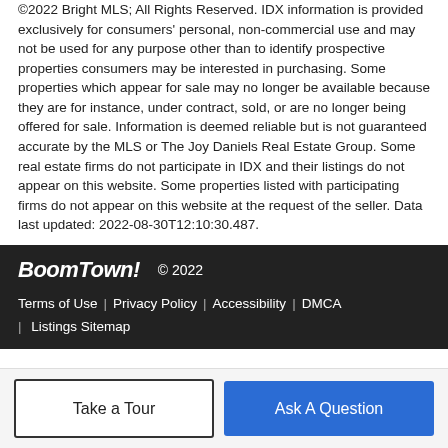©2022 Bright MLS; All Rights Reserved. IDX information is provided exclusively for consumers' personal, non-commercial use and may not be used for any purpose other than to identify prospective properties consumers may be interested in purchasing. Some properties which appear for sale may no longer be available because they are for instance, under contract, sold, or are no longer being offered for sale. Information is deemed reliable but is not guaranteed accurate by the MLS or The Joy Daniels Real Estate Group. Some real estate firms do not participate in IDX and their listings do not appear on this website. Some properties listed with participating firms do not appear on this website at the request of the seller. Data last updated: 2022-08-30T12:10:30.487.
BoomTown! © 2022 | Terms of Use | Privacy Policy | Accessibility | DMCA | Listings Sitemap
Take a Tour
Ask A Question